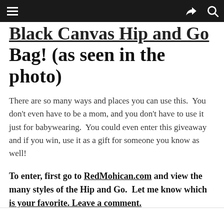[Navigation bar with hamburger menu, share icon, and search icon]
Black Canvas Hip and Go Bag! (as seen in the photo)
There are so many ways and places you can use this.  You don't even have to be a mom, and you don't have to use it just for babywearing.  You could even enter this giveaway and if you win, use it as a gift for someone you know as well!
To enter, first go to RedMohican.com and view the many styles of the Hip and Go.  Let me know which is your favorite. Leave a comment.